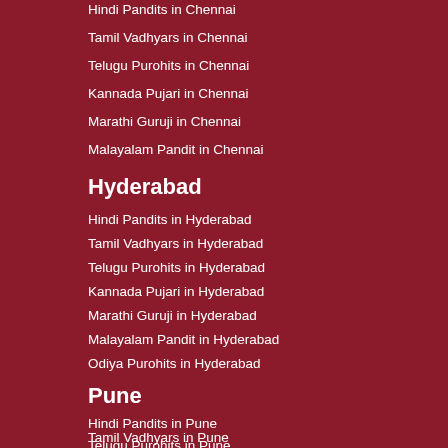Hindi Pandits in Chennai
Tamil Vadhyars in Chennai
Telugu Purohits in Chennai
Kannada Pujari in Chennai
Marathi Guruji in Chennai
Malayalam Pandit in Chennai
Hyderabad
Hindi Pandits in Hyderabad
Tamil Vadhyars in Hyderabad
Telugu Purohits in Hyderabad
Kannada Pujari in Hyderabad
Marathi Guruji in Hyderabad
Malayalam Pandit in Hyderabad
Odiya Purohits in Hyderabad
Pune
Hindi Pandits in Pune
Tamil Vadhyars in Pune
Telugu Purohits in Pune
Kannada Pujari in Pune
Marathi Guruji in Pune